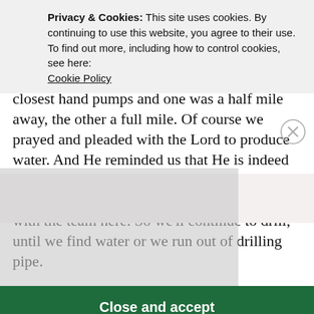looked like there would be water, but in fact, there was not. Our first dry hole. That dry hole hurts, especially after you get to know the people who live there. We walked to the next closest hand pumps and one was a half mile away, the other a full mile. Of course we prayed and pleaded with the Lord to produce water. And He reminded us that He is indeed in control. His timing is perfect, even though it would have been great timing to hit water with the team here. So we'll continue to drill, until we find water or we run out of drilling pipe.
Privacy & Cookies: This site uses cookies. By continuing to use this website, you agree to their use.
To find out more, including how to control cookies, see here:
Cookie Policy
Close and accept